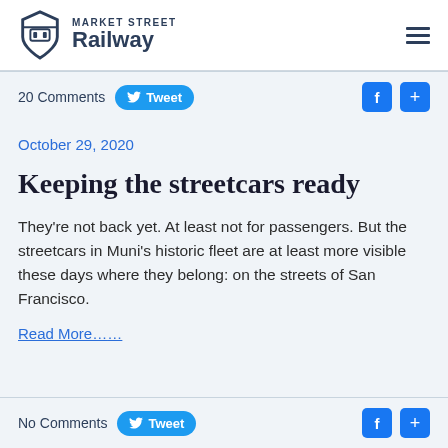MARKET STREET Railway
20 Comments
October 29, 2020
Keeping the streetcars ready
They're not back yet. At least not for passengers. But the streetcars in Muni's historic fleet are at least more visible these days where they belong: on the streets of San Francisco.
Read More…
No Comments